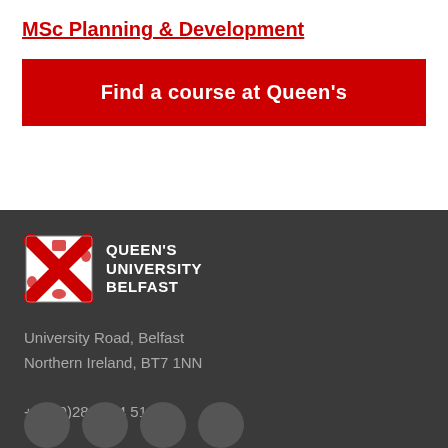MSc Planning & Development
Find a course at Queen's
[Figure (logo): Queen's University Belfast crest logo with red saltire cross and shield, alongside the text QUEEN'S UNIVERSITY BELFAST in white on dark background]
University Road, Belfast
Northern Ireland, BT7 1NN
+44 (0)28 9024 5133
Social media icon circles (partially visible at bottom)